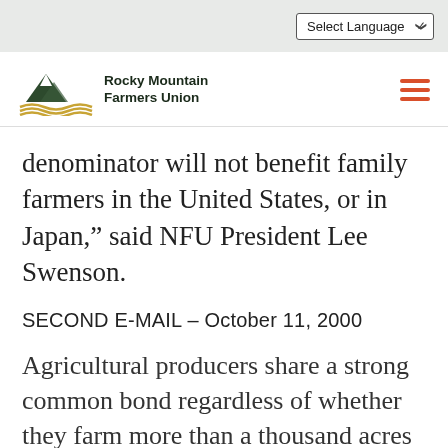Select Language
[Figure (logo): Rocky Mountain Farmers Union logo with mountain and wave graphic and text]
denominator will not benefit family farmers in the United States, or in Japan,” said NFU President Lee Swenson.
SECOND E-MAIL – October 11, 2000
Agricultural producers share a strong common bond regardless of whether they farm more than a thousand acres on the